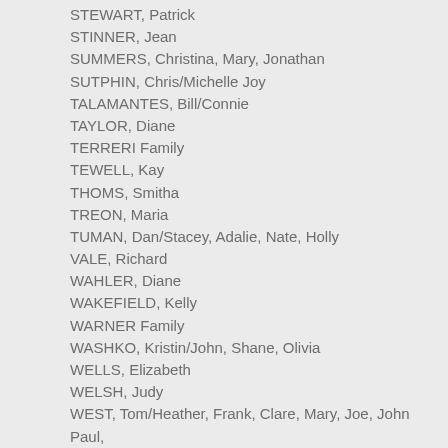STEWART, Patrick
STINNER, Jean
SUMMERS, Christina, Mary, Jonathan
SUTPHIN, Chris/Michelle Joy
TALAMANTES, Bill/Connie
TAYLOR, Diane
TERRERI Family
TEWELL, Kay
THOMS, Smitha
TREON, Maria
TUMAN, Dan/Stacey, Adalie, Nate, Holly
VALE, Richard
WAHLER, Diane
WAKEFIELD, Kelly
WARNER Family
WASHKO, Kristin/John, Shane, Olivia
WELLS, Elizabeth
WELSH, Judy
WEST, Tom/Heather, Frank, Clare, Mary, Joe, John Paul, Benny
WHITE, Mary
WHITTAKER, Gisi
WIDZINSKI, Jim